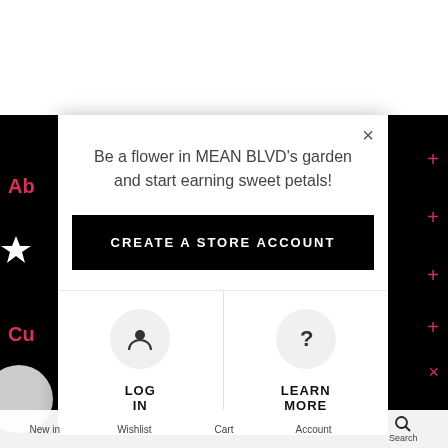[Figure (screenshot): Mobile website screenshot with black background, showing a loyalty program modal popup over the MEAN BLVD website. The modal contains a promotional message, a 'CREATE A STORE ACCOUNT' button, and options to 'LOG IN' or 'LEARN MORE'. The background shows partial navigation elements in pink/red and white.]
Be a flower in MEAN BLVD's garden and start earning sweet petals!
CREATE A STORE ACCOUNT
LOG IN
LEARN MORE
New in   Wishlist   Cart   Account   Search